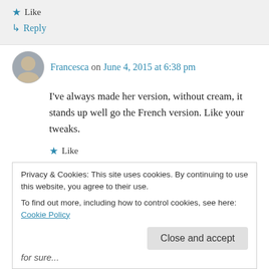★ Like
↳ Reply
Francesca on June 4, 2015 at 6:38 pm
I've always made her version, without cream, it stands up well go the French version. Like your tweaks.
★ Like
↳ Reply
Privacy & Cookies: This site uses cookies. By continuing to use this website, you agree to their use.
To find out more, including how to control cookies, see here: Cookie Policy
Close and accept
for sure...